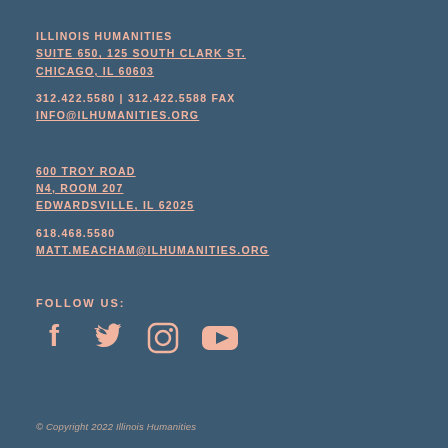ILLINOIS HUMANITIES
SUITE 650, 125 SOUTH CLARK ST.
CHICAGO, IL 60603
312.422.5580 | 312.422.5588 FAX
INFO@ILHUMANITIES.ORG
600 TROY ROAD
N4, ROOM 207
EDWARDSVILLE, IL 62025
618.468.5580
MATT.MEACHAM@ILHUMANITIES.ORG
FOLLOW US:
[Figure (infographic): Social media icons: Facebook, Twitter, Instagram, YouTube]
© Copyright 2022 Illinois Humanities